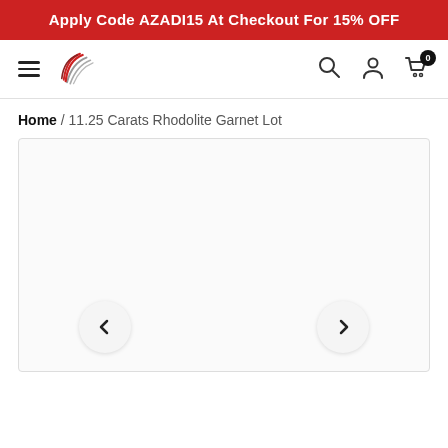Apply Code AZADI15 At Checkout For 15% OFF
[Figure (logo): Hamburger menu and brand logo with red and grey bird/feather design]
Home / 11.25 Carats Rhodolite Garnet Lot
[Figure (photo): Product image area with left and right navigation arrows at the bottom]